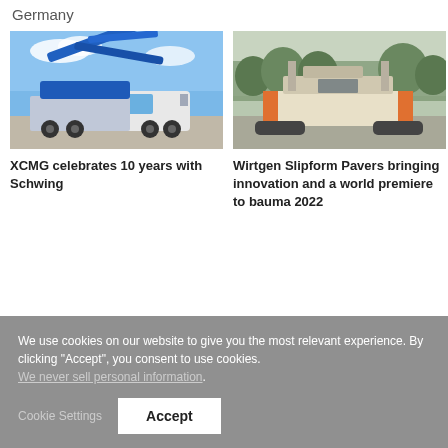Germany
[Figure (photo): Large blue concrete pump truck (XCMG/Schwing) in a parking area with blue sky background]
XCMG celebrates 10 years with Schwing
[Figure (photo): Wirtgen slipform paver machine on a paved surface with green trees in the background]
Wirtgen Slipform Pavers bringing innovation and a world premiere to bauma 2022
We use cookies on our website to give you the most relevant experience. By clicking “Accept”, you consent to use cookies. We never sell personal information.
Cookie Settings
Accept